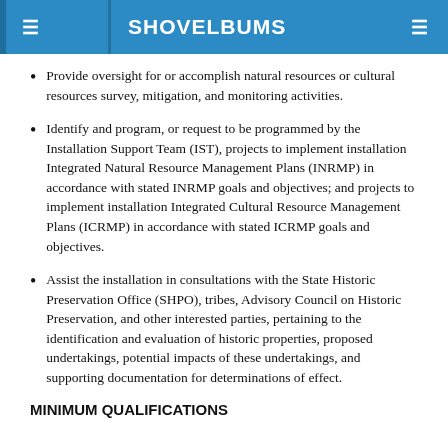SHOVELBUMS
Provide oversight for or accomplish natural resources or cultural resources survey, mitigation, and monitoring activities.
Identify and program, or request to be programmed by the Installation Support Team (IST), projects to implement installation Integrated Natural Resource Management Plans (INRMP) in accordance with stated INRMP goals and objectives; and projects to implement installation Integrated Cultural Resource Management Plans (ICRMP) in accordance with stated ICRMP goals and objectives.
Assist the installation in consultations with the State Historic Preservation Office (SHPO), tribes, Advisory Council on Historic Preservation, and other interested parties, pertaining to the identification and evaluation of historic properties, proposed undertakings, potential impacts of these undertakings, and supporting documentation for determinations of effect.
MINIMUM QUALIFICATIONS